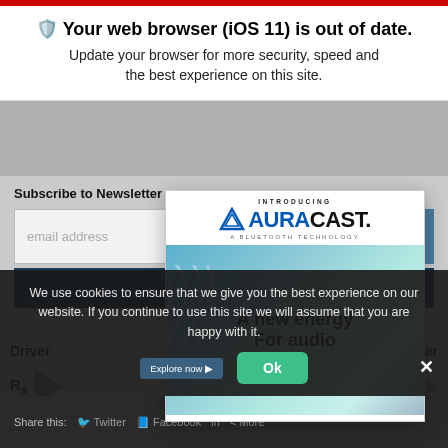Your web browser (iOS 11) is out of date. Update your browser for more security, speed and the best experience on this site.
[Figure (screenshot): Website interface showing a newsletter subscription form with 'Subscribe to Newsletter' label, email address input field, and a teal call-to-action button showing 'to the Site'. Below is a Driver/Receiver diagram section with Rs label and arrows.]
[Figure (screenshot): Auracast advertisement popup showing 'INTRODUCING AURACAST A BLUETOOTH TECHNOLOGY' logo and 'A new energy For audio' tagline over an image of two women wearing headphones with audio wave graphics.]
We use cookies to ensure that we give you the best experience on our website. If you continue to use this site we will assume that you are happy with it.
Ok